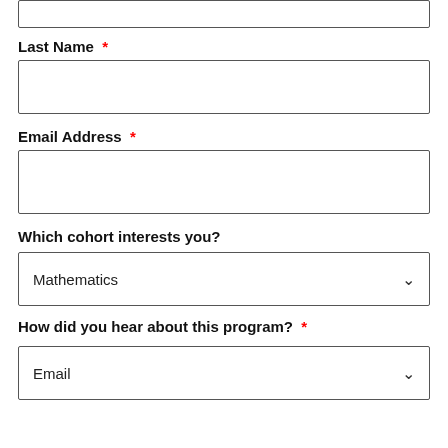Last Name *
Email Address *
Which cohort interests you?
Mathematics (dropdown)
How did you hear about this program? *
Email (dropdown)